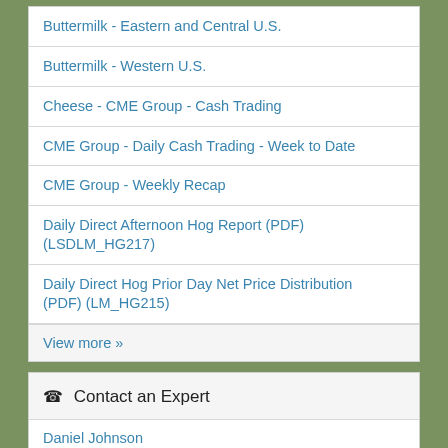Buttermilk - Eastern and Central U.S.
Buttermilk - Western U.S.
Cheese - CME Group - Cash Trading
CME Group - Daily Cash Trading - Week to Date
CME Group - Weekly Recap
Daily Direct Afternoon Hog Report (PDF) (LSDLM_HG217)
Daily Direct Hog Prior Day Net Price Distribution (PDF) (LM_HG215)
View more »
Contact an Expert
Daniel Johnson
Israel Weber